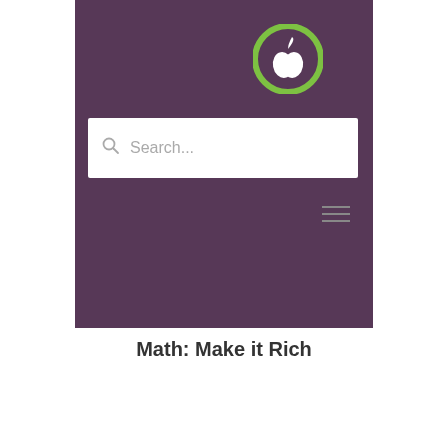[Figure (screenshot): Mobile app screenshot showing a purple background with a green apple logo icon at the top center, a white search bar with placeholder text 'Search...' and a magnifying glass icon, and a hamburger menu icon (three horizontal lines) in the upper right area of the purple region.]
Math: Make it Rich